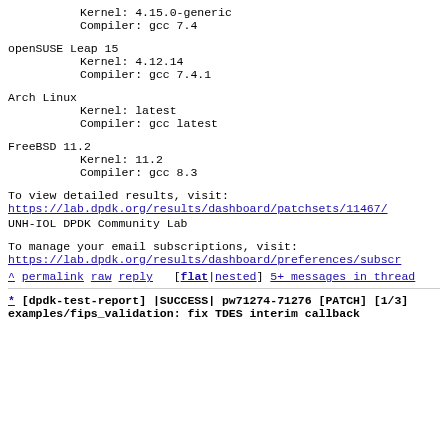Kernel: 4.15.0-generic
Compiler: gcc 7.4
openSUSE Leap 15
    Kernel: 4.12.14
    Compiler: gcc 7.4.1
Arch Linux
    Kernel: latest
    Compiler: gcc latest
FreeBSD 11.2
    Kernel: 11.2
    Compiler: gcc 8.3
To view detailed results, visit:
https://lab.dpdk.org/results/dashboard/patchsets/11467/
UNH-IOL DPDK Community Lab
To manage your email subscriptions, visit:
https://lab.dpdk.org/results/dashboard/preferences/subscr...
^ permalink raw reply [flat|nested] 5+ messages in thread
* [dpdk-test-report] |SUCCESS| pw71274-71276 [PATCH] [1/3] examples/fips_validation: fix TDES interim callback